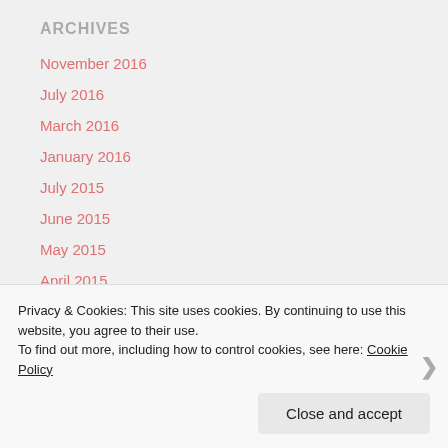ARCHIVES
November 2016
July 2016
March 2016
January 2016
July 2015
June 2015
May 2015
April 2015
March 2015
Privacy & Cookies: This site uses cookies. By continuing to use this website, you agree to their use.
To find out more, including how to control cookies, see here: Cookie Policy
Close and accept